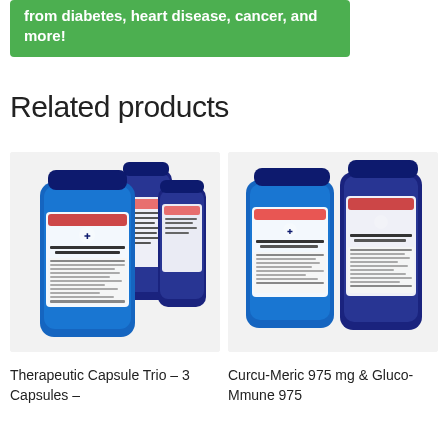from diabetes, heart disease, cancer, and more!
Related products
[Figure (photo): Three blue supplement bottles labeled Turmeric & Curcumin, showing front and back labels with supplement facts]
Therapeutic Capsule Trio – 3 Capsules –
[Figure (photo): Two blue supplement bottles labeled Turmeric & Curcumin and Turmeric Curcumin Metabolic Booster, showing front and side labels]
Curcu-Meric 975 mg & Gluco-Mmune 975